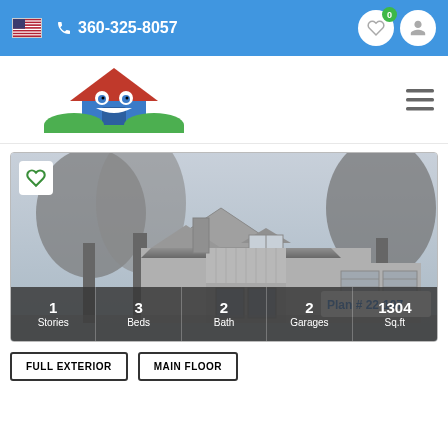360-325-8057
[Figure (logo): MonsterHousePlans logo with house icon and green/blue text]
[Figure (photo): Black and white architectural rendering of a farmhouse style home with trees, Plan # 22-107]
1 Stories  3 Beds  2 Bath  2 Garages  1304 Sq.ft
FULL EXTERIOR  MAIN FLOOR